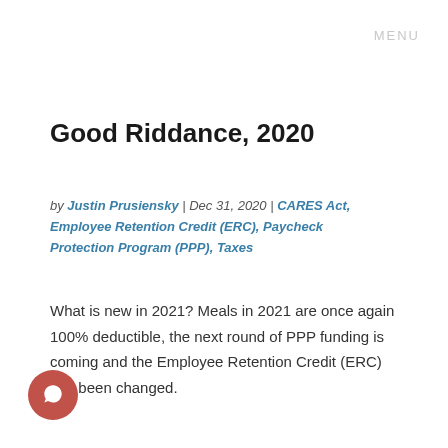MENU
Good Riddance, 2020
by Justin Prusiensky | Dec 31, 2020 | CARES Act, Employee Retention Credit (ERC), Paycheck Protection Program (PPP), Taxes
What is new in 2021? Meals in 2021 are once again 100% deductible, the next round of PPP funding is coming and the Employee Retention Credit (ERC) has been changed.